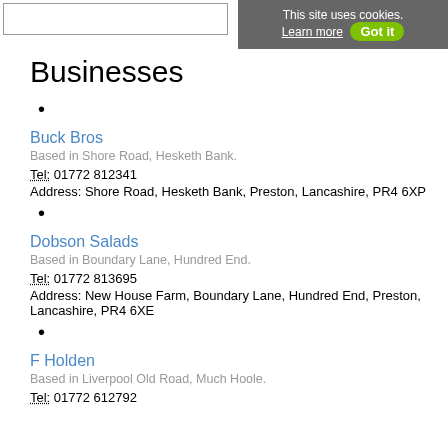This site uses cookies. Learn more Got it
Businesses
•
Buck Bros
Based in Shore Road, Hesketh Bank.
Tel: 01772 812341
Address: Shore Road, Hesketh Bank, Preston, Lancashire, PR4 6XP
•
Dobson Salads
Based in Boundary Lane, Hundred End.
Tel: 01772 813695
Address: New House Farm, Boundary Lane, Hundred End, Preston, Lancashire, PR4 6XE
•
F Holden
Based in Liverpool Old Road, Much Hoole.
Tel: 01772 612792